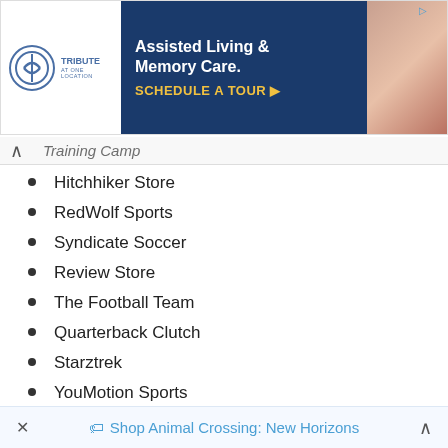[Figure (screenshot): Advertisement banner for Tribute Assisted Living & Memory Care with blue background and 'SCHEDULE A TOUR' CTA button]
Training Camp
Hitchhiker Store
RedWolf Sports
Syndicate Soccer
Review Store
The Football Team
Quarterback Clutch
Starztrek
YouMotion Sports
Essen Sports
Mikasa Usa
Shop Animal Crossing: New Horizons